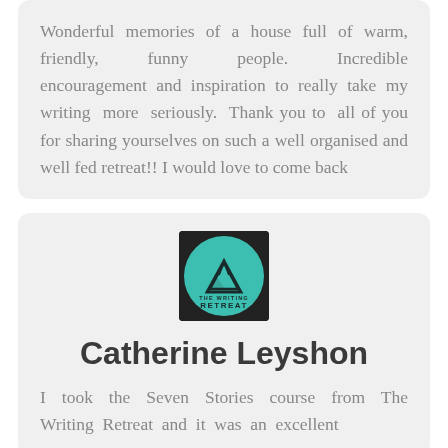Wonderful memories of a house full of warm, friendly, funny people. Incredible encouragement and inspiration to really take my writing more seriously. Thank you to all of you for sharing yourselves on such a well organised and well fed retreat!! I would love to come back
[Figure (logo): The Writing Retreat circular logo on teal/dark green background with mountain icon]
Catherine Leyshon
I took the Seven Stories course from The Writing Retreat and it was an excellent